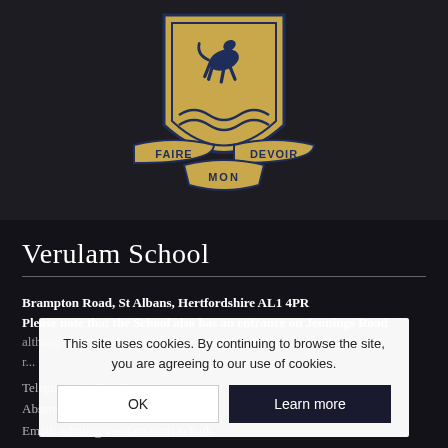[Figure (logo): Verulam School crest/shield in gold and navy blue. The shield features a rearing horse at the top and waves at the bottom. Three banners below read 'FAIRE', 'MON', and 'DEVOIR'.]
Verulam School
Brampton Road, St Albans, Hertfordshire AL1 4PR
Please note that the School also has an entrance on Jennings Road although all visitors should come to the Brampton Road entrance and r...
Telephone: 01727 766100
Absence Line: 01727 7...
Email: admin@verulam.herts.sch.uk
This site uses cookies. By continuing to browse the site, you are agreeing to our use of cookies.